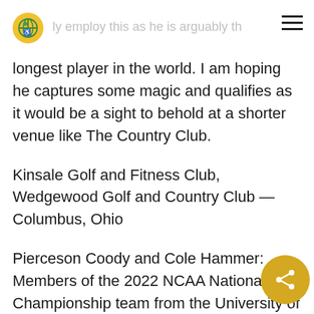ly employ this as he is arguably the
longest player in the world. I am hoping he captures some magic and qualifies as it would be a sight to behold at a shorter venue like The Country Club.
Kinsale Golf and Fitness Club, Wedgewood Golf and Country Club — Columbus, Ohio
Pierceson Coody and Cole Hammer: Members of the 2022 NCAA National Championship team from the University of Texas, they will look to